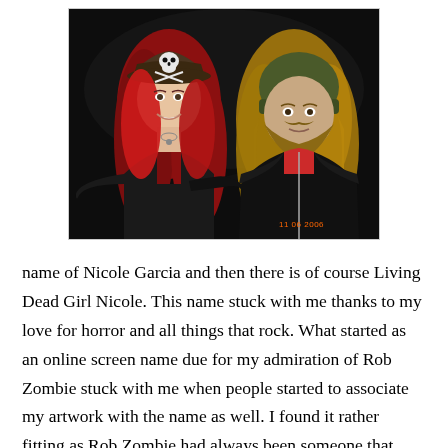[Figure (photo): A photograph of two people posing together. On the left is a woman with long red hair wearing a pirate hat with a skull and crossbones, dressed in black clothing. On the right is a man with long wavy blonde/brown hair wearing a green beanie hat and a black leather jacket over a red shirt. The photo has an orange date stamp reading '11 06 2006' in the lower right corner. The background is dark.]
name of Nicole Garcia and then there is of course Living Dead Girl Nicole. This name stuck with me thanks to my love for horror and all things that rock. What started as an online screen name due for my admiration of Rob Zombie stuck with me when people started to associate my artwork with the name as well. I found it rather fitting as Rob Zombie had always been someone that inspired